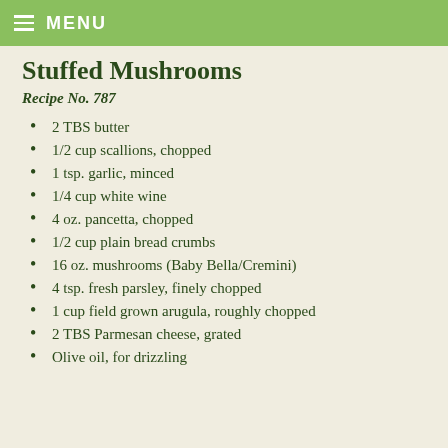MENU
Stuffed Mushrooms
Recipe No. 787
2 TBS butter
1/2 cup scallions, chopped
1 tsp. garlic, minced
1/4 cup white wine
4 oz. pancetta, chopped
1/2 cup plain bread crumbs
16 oz. mushrooms (Baby Bella/Cremini)
4 tsp. fresh parsley, finely chopped
1 cup field grown arugula, roughly chopped
2 TBS Parmesan cheese, grated
Olive oil, for drizzling